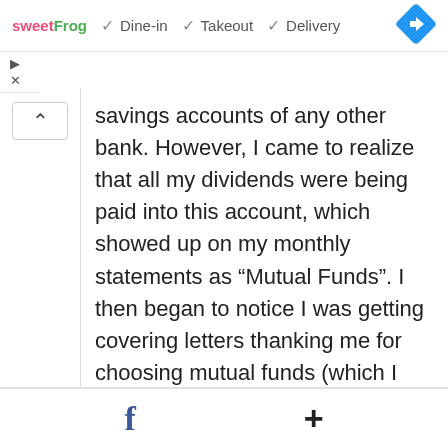[Figure (screenshot): Top navigation bar showing sweetFrog logo, Dine-in, Takeout, Delivery options with checkmarks, and a blue diamond navigation icon]
[Figure (screenshot): Ad control buttons (play and close)]
[Figure (screenshot): Up arrow scroll button on left side]
savings accounts of any other bank. However, I came to realize that all my dividends were being paid into this account, which showed up on my monthly statements as “Mutual Funds”. I then began to notice I was getting covering letters thanking me for choosing mutual funds (which I never did!), so I was puzzled. As time has gone on I’ve become even more puzzled. The small print in the accompanying policy document for the
[Figure (screenshot): Bottom bar with Facebook icon and plus icon]